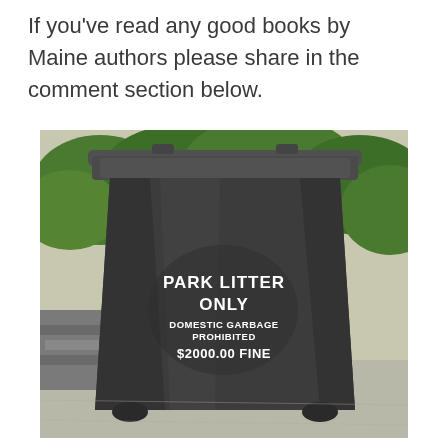If you've read any good books by Maine authors please share in the comment section below.
[Figure (photo): A dark gray/black plastic park trash bin outdoors on a concrete surface, with a closed lid. Green trees and shrubs visible in the background. White text on the front of the bin reads: PARK LITTER ONLY / DOMESTIC GARBAGE PROHIBITED / $2000.00 FINE]